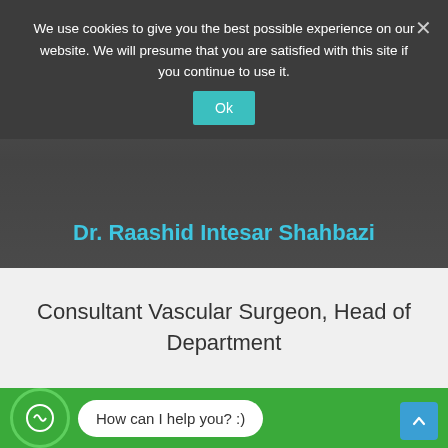We use cookies to give you the best possible experience on our website. We will presume that you are satisfied with this site if you continue to use it.
Dr. Raashid Intesar Shahbazi
Consultant Vascular Surgeon, Head of Department
Book an appointment
Related Doctors
Related Department
How can I help you? :)